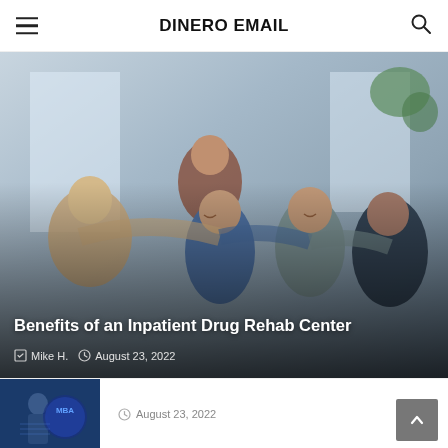DINERO EMAIL
[Figure (photo): Group of five smiling adults in a circle with arms around each other in a bright room, representing community or group therapy support]
Benefits of an Inpatient Drug Rehab Center
Mike H.  August 23, 2022
[Figure (photo): Person holding a holographic MBA badge/button, representing business education]
August 23, 2022